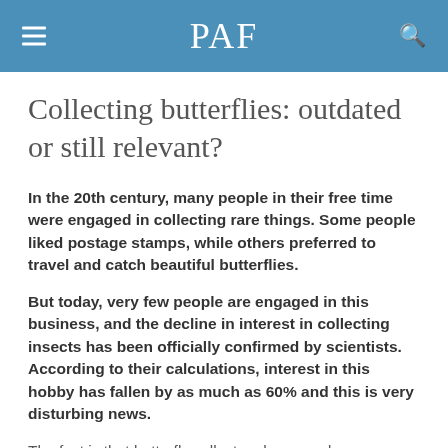PAF
Collecting butterflies: outdated or still relevant?
In the 20th century, many people in their free time were engaged in collecting rare things. Some people liked postage stamps, while others preferred to travel and catch beautiful butterflies.
But today, very few people are engaged in this business, and the decline in interest in collecting insects has been officially confirmed by scientists. According to their calculations, interest in this hobby has fallen by as much as 60% and this is very disturbing news.
The fact is that butterfly collectors have made a very